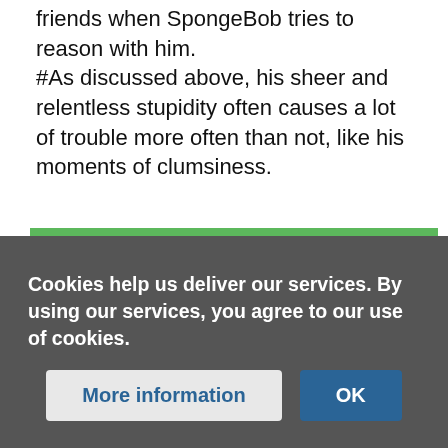friends when SpongeBob tries to reason with him. #As discussed above, his sheer and relentless stupidity often causes a lot of trouble more often than not, like his moments of clumsiness.
# Speaking of which, while he and Patrick are moronic and childish lunatics, they can sometimes come off as masochistic as seen in a Season 6 episode called "Cephalopod Lodge" as they willingly electrocute themselves by the tongue for no good reason. Patrick forcing Squidward's tongue to be electrocuted by the jellyfish also shows how stupidly sadistic he is as well.
ExploringEditor
3,734 ... Edits ...
Cookies help us deliver our services. By using our services, you agree to our use of cookies.
More information
OK